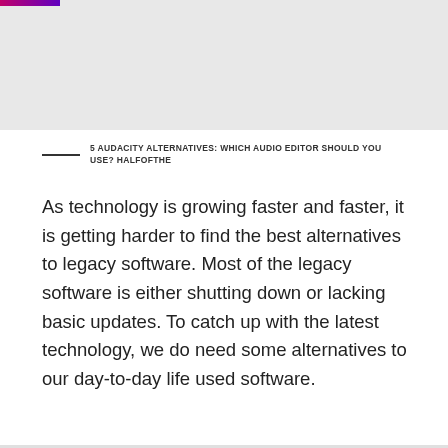[Figure (other): Gray banner/image placeholder at the top of the page with a gradient color bar (pink to purple) in the top-left corner]
5 AUDACITY ALTERNATIVES: WHICH AUDIO EDITOR SHOULD YOU USE? HALFOFTHE
As technology is growing faster and faster, it is getting harder to find the best alternatives to legacy software. Most of the legacy software is either shutting down or lacking basic updates. To catch up with the latest technology, we do need some alternatives to our day-to-day life used software.